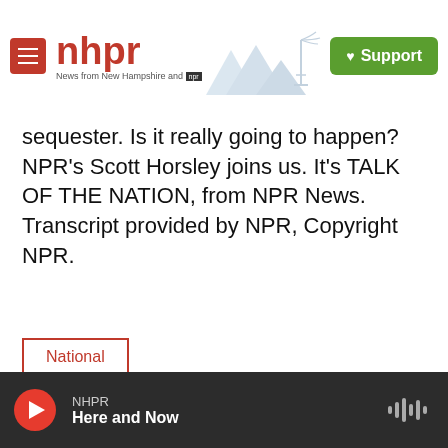NHPR - News from New Hampshire and NPR | Support
sequester. Is it really going to happen? NPR's Scott Horsley joins us. It's TALK OF THE NATION, from NPR News. Transcript provided by NPR, Copyright NPR.
National
[Figure (infographic): Social sharing buttons: Facebook, Twitter, LinkedIn, Pinterest, Email]
NHPR Here and Now